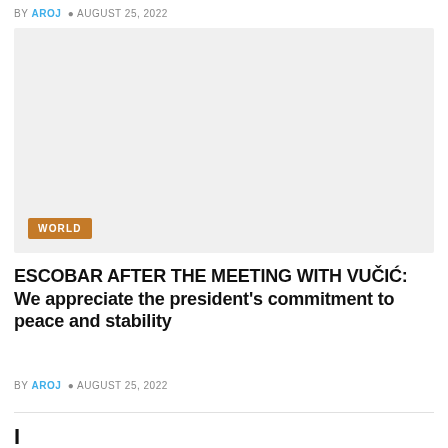BY AROJ  © AUGUST 25, 2022
[Figure (photo): Large image placeholder with a WORLD category badge in the lower left corner. Background is light gray.]
ESCOBAR AFTER THE MEETING WITH VUČIĆ: We appreciate the president's commitment to peace and stability
BY AROJ  © AUGUST 25, 2022